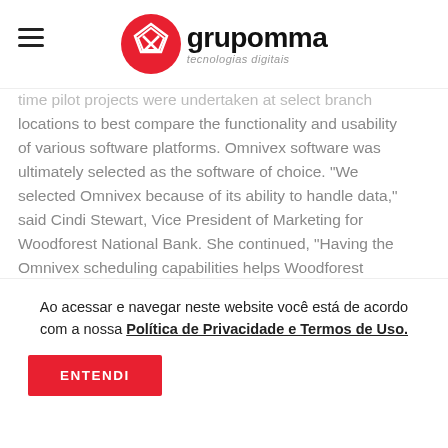grupomma tecnologias digitais
time pilot projects were undertaken at select branch locations to best compare the functionality and usability of various software platforms. Omnivex software was ultimately selected as the software of choice. "We selected Omnivex because of its ability to handle data," said Cindi Stewart, Vice President of Marketing for Woodforest National Bank. She continued, "Having the Omnivex scheduling capabilities helps Woodforest execute its digital marketing campaigns in a timely and efficient manner – all from our offices in The Woodlands, TX. We're finding that the digital signage is an excellent
Ao acessar e navegar neste website você está de acordo com a nossa Política de Privacidade e Termos de Uso.
ENTENDI